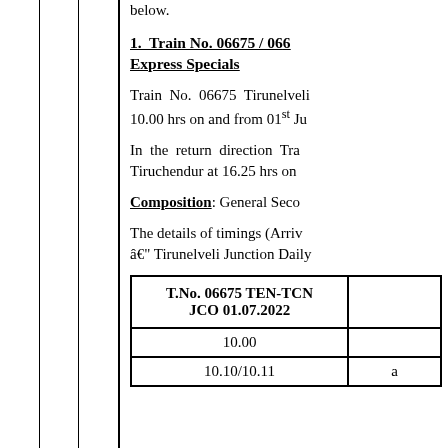below.
1. Train No. 06675 / 066... Express Specials
Train No. 06675 Tirunelveli... 10.00 hrs on and from 01st Ju...
In the return direction Tra... Tiruchendur at 16.25 hrs on...
Composition: General Seco...
The details of timings (Arriv... â€" Tirunelveli Junction Daily...
| T.No. 06675 TEN-TCN JCO 01.07.2022 |  |
| --- | --- |
| 10.00 |  |
| 10.10/10.11 | a |